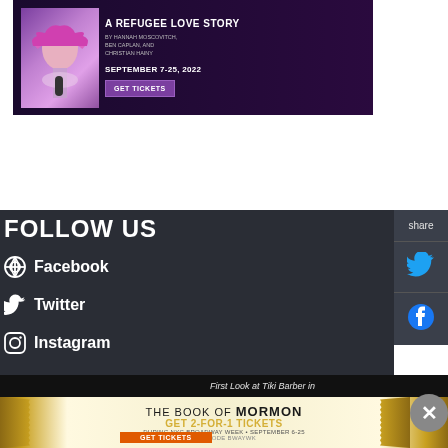[Figure (photo): Theater advertisement banner: 'A Refugee Love Story' by Hannah Moscovitch, Ben Caplan, and Christian Hainy. September 7-25, 2022. GET TICKETS button. Shows performer with pink hair and microphone.]
[Figure (screenshot): Share sidebar with Twitter and Facebook icons on dark background]
FOLLOW US
Facebook
Twitter
Instagram
First Look at Tiki Barber in
[Figure (photo): The Book of Mormon advertisement: GET 2-FOR-1 TICKETS during NYC Broadway Week September 6-25. Use Code BWAYWK. GET TICKETS button. Gold starburst background.]